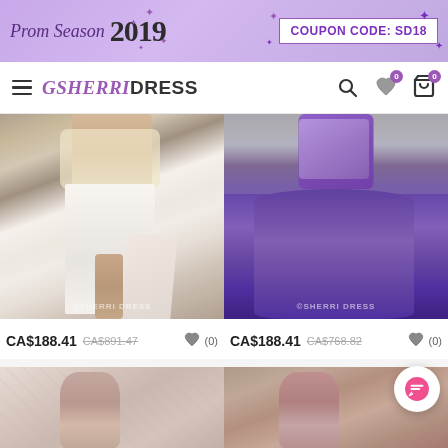Prom Season 2019 | COUPON CODE: SD18
[Figure (logo): SherriDress navigation bar with hamburger menu, logo, search, wishlist and cart icons]
[Figure (photo): White beaded crop top with high slit flowing white skirt prom dress, SHERRIDRESS watermark]
CA$188.41  CA$891.47  (0)
[Figure (photo): Purple flowy prom dress with jeweled bodice, SHERRIDRESS watermark]
CA$188.41  CA$768.82  (0)
[Figure (photo): Bottom left dress partial view]
[Figure (photo): Bottom right red dress partial view]